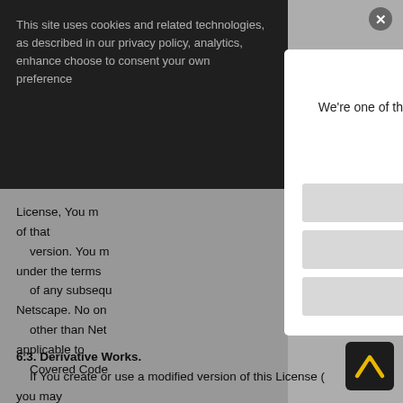This site uses cookies and related technologies, as described in our privacy policy, analytics, enhance choose to consent your own preference
License, You m of that version. You m under the terms of any subsequ Netscape. No on other than Net applicable to Covered Code
Welcome to Aptean!
We’re one of the world’s leading providers of industry-specific software, enabling our customers to be Ready for What’s Next, Now®
How can we help you today?
Talk to Sales
Customer Support
Looking for Something Else
6.3. Derivative Works.
If You create or use a modified version of this License ( you may
[Figure (logo): Aptean logo: yellow/gold arrow chevron on dark background]